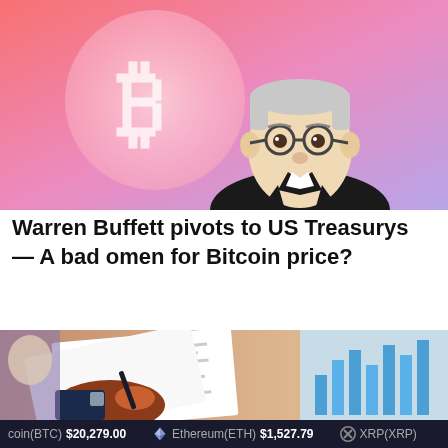[Figure (illustration): Cartoon illustration of Warren Buffett (elderly man with glasses, grey hair, dark suit, white shirt) in front of a large Bitcoin (BTC) logo on a pink-to-purple gradient background]
Warren Buffett pivots to US Treasurys — A bad omen for Bitcoin price?
[Figure (illustration): Illustration of a person in a dark suit reviewing financial documents and charts at a desk, with bar chart graphics visible in the background]
coin(BTC) $20,279.00   Ethereum(ETH) $1,527.79   XRP(XRP)